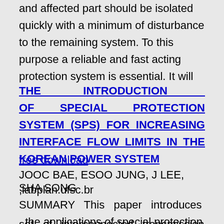and affected part should be isolated quickly with a minimum of disturbance to the remaining system. To this purpose a reliable and fast acting protection system is essential. It will
THE INTRODUCTION OF SPECIAL PROTECTION SYSTEM (SPS) FOR INCREASING INTERFACE FLOW LIMITS IN THE KOREAN POWER SYSTEM
free download
JOOC BAE, ESOO JUNG, J LEE, SHA SONG
,labplan.ufsc.br
SUMMARY This paper introduces the applications of special protection system (SPS) to a
set of interconnected transmission lines